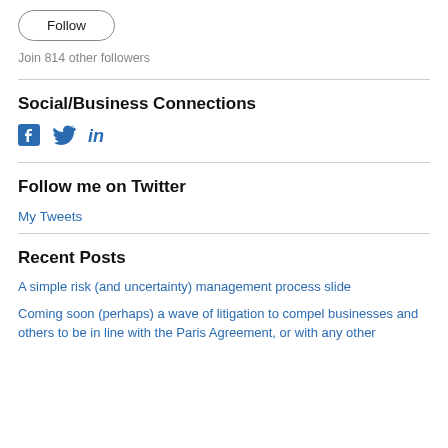[Figure (other): Follow button with rounded pill border]
Join 814 other followers
Social/Business Connections
[Figure (other): Social media icons: Facebook, Twitter, LinkedIn]
Follow me on Twitter
My Tweets
Recent Posts
A simple risk (and uncertainty) management process slide
Coming soon (perhaps) a wave of litigation to compel businesses and others to be in line with the Paris Agreement, or with any other